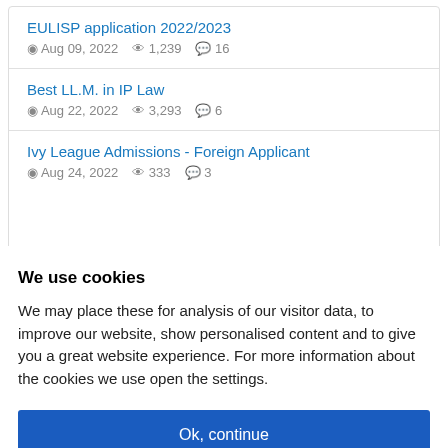EULISP application 2022/2023
Aug 09, 2022  1,239  16
Best LL.M. in IP Law
Aug 22, 2022  3,293  6
Ivy League Admissions - Foreign Applicant
Aug 24, 2022  333  3
We use cookies
We may place these for analysis of our visitor data, to improve our website, show personalised content and to give you a great website experience. For more information about the cookies we use open the settings.
Ok, continue
Deny
No, adjust